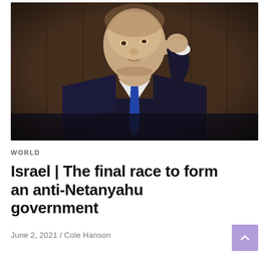[Figure (photo): A man in a dark suit with a blue tie adjusting his collar, seated in what appears to be a formal chamber with a wooden background. The person is photographed from the side/front angle.]
WORLD
Israel | The final race to form an anti-Netanyahu government
June 2, 2021 / Cole Hanson